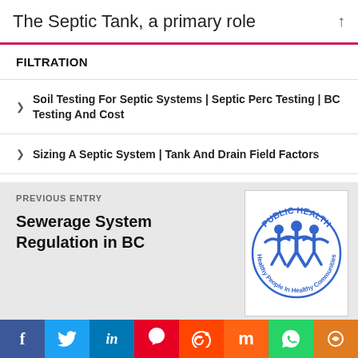The Septic Tank, a primary role
FILTRATION
Soil Testing For Septic Systems | Septic Perc Testing | BC Testing And Cost
Sizing A Septic System | Tank And Drain Field Factors
PREVIOUS ENTRY
Sewerage System Regulation in BC
[Figure (logo): Public Health logo — blue figures with arms raised, text 'PUBLIC HEALTH' and 'Healthy People In Healthy Communities' in a circle]